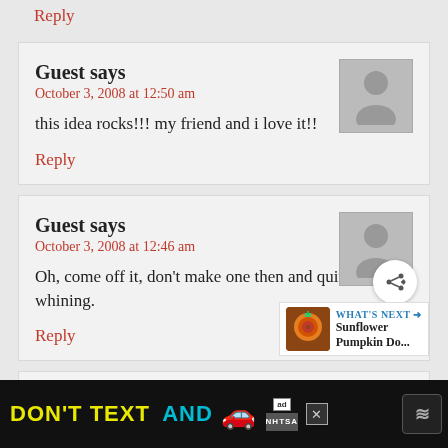Reply
Guest says
October 3, 2008 at 12:50 am
this idea rocks!!! my friend and i love it!!
Reply
Guest says
October 3, 2008 at 12:46 am
Oh, come off it, don't make one then and quite whining.
Reply
Guest says
[Figure (infographic): DON'T TEXT AND [car emoji] ad banner with NHTSA logo at the bottom of the page]